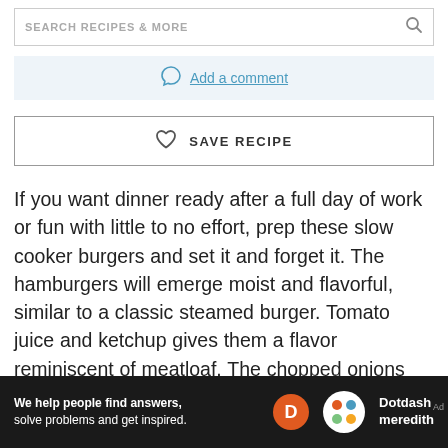SEARCH RECIPES & MORE
Add a comment
SAVE RECIPE
If you want dinner ready after a full day of work or fun with little to no effort, prep these slow cooker burgers and set it and forget it. The hamburgers will emerge moist and flavorful, similar to a classic steamed burger. Tomato juice and ketchup gives them a flavor reminiscent of meatloaf. The chopped onions and celery help keep the patties from scorching and sticking to
We help people find answers, solve problems and get inspired. Dotdash meredith